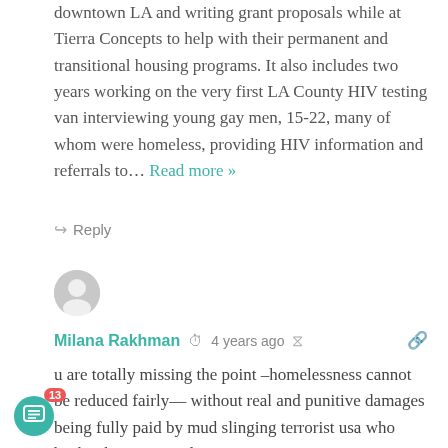downtown LA and writing grant proposals while at Tierra Concepts to help with their permanent and transitional housing programs. It also includes two years working on the very first LA County HIV testing van interviewing young gay men, 15-22, many of whom were homeless, providing HIV information and referrals to… Read more »
Reply
[Figure (illustration): Generic user avatar — grey circle with person silhouette]
Milana Rakhman  4 years ago
u are totally missing the point –homelessness cannot be reduced fairly— without real and punitive damages being fully paid by mud slinging terrorist usa who backs abuses toward victims —-moreover compensation must be enough to solve all resultant problems—and do not forget by any means–visas to vacate— as victim need not be poisoned abused by conspired terrorist groups such as ur selves
Reply